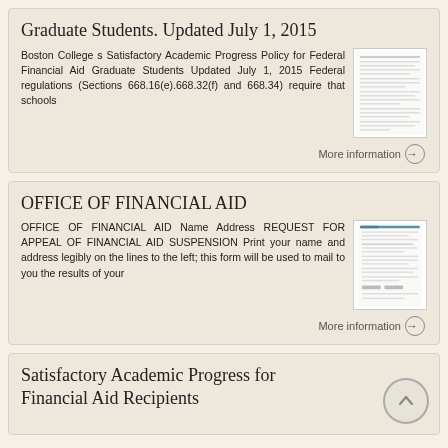Graduate Students. Updated July 1, 2015
Boston College s Satisfactory Academic Progress Policy for Federal Financial Aid Graduate Students Updated July 1, 2015 Federal regulations (Sections 668.16(e).668.32(f) and 668.34) require that schools
[Figure (screenshot): Thumbnail image of a document page with dense text lines]
More information →
OFFICE OF FINANCIAL AID
OFFICE OF FINANCIAL AID Name Address REQUEST FOR APPEAL OF FINANCIAL AID SUSPENSION Print your name and address legibly on the lines to the left; this form will be used to mail to you the results of your
[Figure (screenshot): Thumbnail image of a financial aid form with fields and lines]
More information →
Satisfactory Academic Progress for Financial Aid Recipients